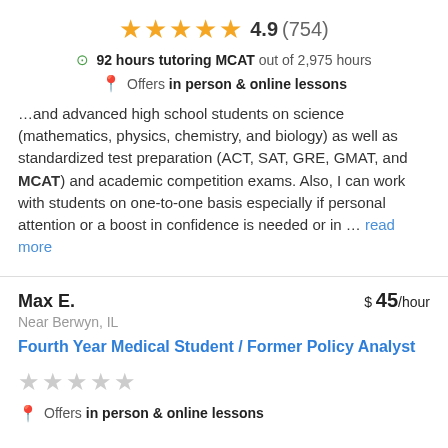4.9 (754) — 5 stars rating
92 hours tutoring MCAT out of 2,975 hours
Offers in person & online lessons
…and advanced high school students on science (mathematics, physics, chemistry, and biology) as well as standardized test preparation (ACT, SAT, GRE, GMAT, and MCAT) and academic competition exams. Also, I can work with students on one-to-one basis especially if personal attention or a boost in confidence is needed or in … read more
Max E. — $45/hour — Near Berwyn, IL
Fourth Year Medical Student / Former Policy Analyst
Offers in person & online lessons